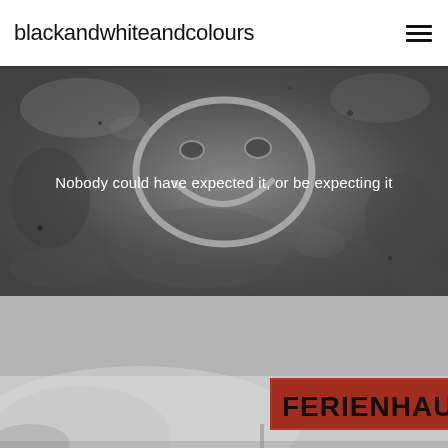blackandwhiteandcolours
[Figure (photo): Black and white close-up photo of a smiley face drawn or imprinted in snow, with the text overlay: Nobody could have expected it, or be expecting it]
Nobody could have expected it, or be expecting it
[Figure (photo): Partially visible photo showing a snowy scene with a red sign displaying the text FERIENHAUS (partially cropped)]